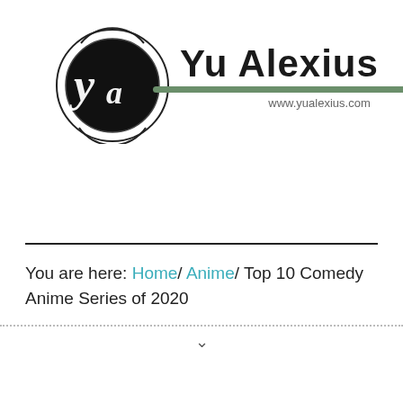[Figure (logo): Yu Alexius website logo: circular black emblem with stylized 'ya' script inside, followed by bold text 'Yu Alexius', a dark green horizontal bar, and the URL www.yualexius.com]
You are here: Home/ Anime/ Top 10 Comedy Anime Series of 2020